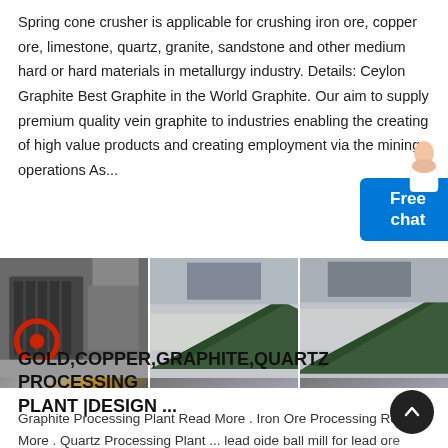Spring cone crusher is applicable for crushing iron ore, copper ore, limestone, quartz, granite, sandstone and other medium hard or hard materials in metallurgy industry. Details: Ceylon Graphite Best Graphite in the World Graphite. Our aim to supply premium quality vein graphite to industries enabling the creating of high value products and creating employment via the mining operations As...
[Figure (photo): Three factory/industrial images side by side showing heavy crushing machinery and equipment in a manufacturing plant]
GOLD,COPPER,GRAPHITE,QUARTZ PROCESSING PLANT |DESIGN ...
Graphite Processing Plant Read More . Iron Ore Processing Read More . Quartz Processing Plant ... lead oide ball mill for lead ore suppliers / equipments for coal crushing stone crusher machine /